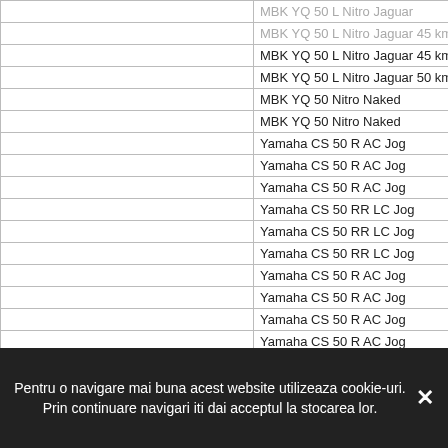|  | MBK YQ 50 L Nitro Jaguar |
|  | MBK YQ 50 L Nitro Jaguar 45 km/h |
|  | MBK YQ 50 L Nitro Jaguar 45 km/h |
|  | MBK YQ 50 L Nitro Jaguar 50 km/h |
|  | MBK YQ 50 Nitro Naked |
|  | MBK YQ 50 Nitro Naked |
|  | Yamaha CS 50 R AC Jog |
|  | Yamaha CS 50 R AC Jog |
|  | Yamaha CS 50 R AC Jog |
|  | Yamaha CS 50 RR LC Jog |
|  | Yamaha CS 50 RR LC Jog |
|  | Yamaha CS 50 RR LC Jog |
|  | Yamaha CS 50 R AC Jog |
|  | Yamaha CS 50 R AC Jog |
|  | Yamaha CS 50 R AC Jog |
|  | Yamaha CS 50 R AC Jog |
|  | Yamaha CS 50 R AC Jog |
|  | Yamaha CS 50 RR LC Jog |
|  | Yamaha CS 50 RR LC Jog |
|  | Yamaha CS 50 RR LC Jog |
|  | Yamaha CS 50 RR LC Jog |
|  | Yamaha CS 50 RR LC Jog |
|  | Yamaha YA 50 R Axis |
|  | Yamaha YE 50 Zest |
|  | Yamaha YE 50 Zest |
|  | Yamaha YE 50 Zest |
Pentru o navigare mai buna acest website utilizeaza cookie-uri. Prin continuare navigari iti dai acceptul la stocarea lor.